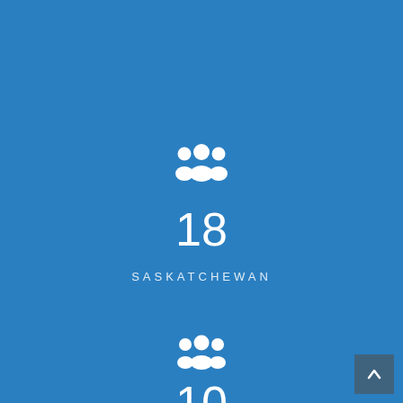[Figure (infographic): White group/people icon (three silhouettes) centered on blue background, above the number 18]
18
SASKATCHEWAN
[Figure (infographic): White group/people icon (three silhouettes) centered on blue background, above the number 10]
10